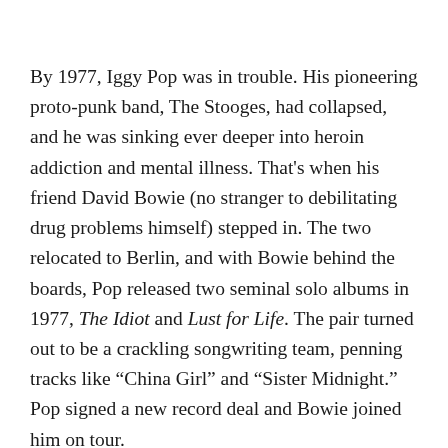By 1977, Iggy Pop was in trouble. His pioneering proto-punk band, The Stooges, had collapsed, and he was sinking ever deeper into heroin addiction and mental illness. That's when his friend David Bowie (no stranger to debilitating drug problems himself) stepped in. The two relocated to Berlin, and with Bowie behind the boards, Pop released two seminal solo albums in 1977, The Idiot and Lust for Life. The pair turned out to be a crackling songwriting team, penning tracks like “China Girl” and “Sister Midnight.” Pop signed a new record deal and Bowie joined him on tour.